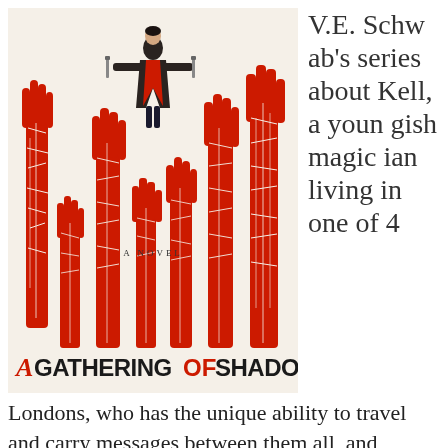[Figure (illustration): Book cover of 'A Gathering of Shadows' by V.E. Schwab. Cream background with many red hands/arms reaching upward with map-like patterns on them. A figure in a dark coat holding two daggers floats above. Text 'A NOVEL' in the middle. Bold title 'A GATHERING OF SHADOWS' at the bottom with red and black lettering.]
V.E. Schwab's series about Kell, a youngish magician living in one of 4 Londons, who has the unique ability to travel and carry messages between them all, and